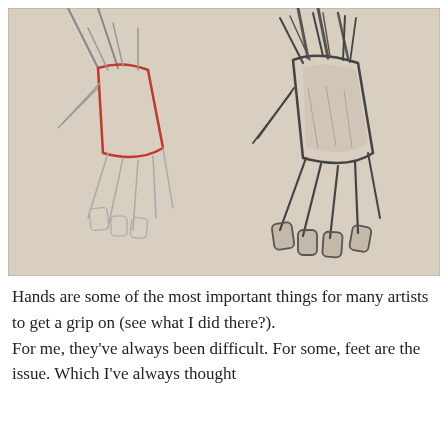[Figure (illustration): Two pencil sketch drawings of hands side by side on a beige/tan background. The left sketch shows a hand drawn in loose construction lines with a red outlined trapezoid shape highlighting the palm/wrist area. The right sketch shows the same or similar hand more fully rendered with darker lines, showing fingers splayed outward and thumb detail.]
Hands are some of the most important things for many artists to get a grip on (see what I did there?).
For me, they've always been difficult. For some, feet are the issue. Which I've always thought